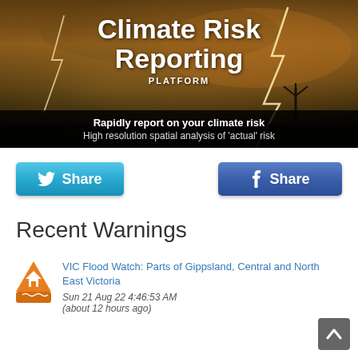[Figure (screenshot): Climate Risk Reporting Platform banner with stormy sky and lightning background. Text reads 'Climate Risk Reporting PLATFORM'. Below: 'Rapidly report on your climate risk' and 'High resolution spatial analysis of actual risk'.]
[Figure (screenshot): Twitter Share button (light blue) on the left and Facebook Share button (dark blue) on the right.]
Recent Warnings
VIC Flood Watch: Parts of Gippsland, Central and North East Victoria
Sun 21 Aug 22 4:46:53 AM
(about 12 hours ago)